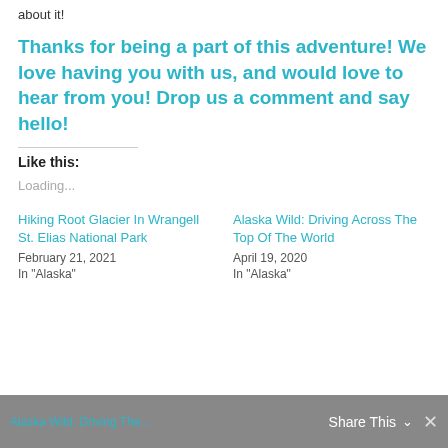about it!
Thanks for being a part of this adventure! We love having you with us, and would love to hear from you! Drop us a comment and say hello!
Like this:
Loading...
Hiking Root Glacier In Wrangell St. Elias National Park
February 21, 2021
In "Alaska"
Alaska Wild: Driving Across The Top Of The World
April 19, 2020
In "Alaska"
Alaska Wild: Driving The... Share This ✓ ×